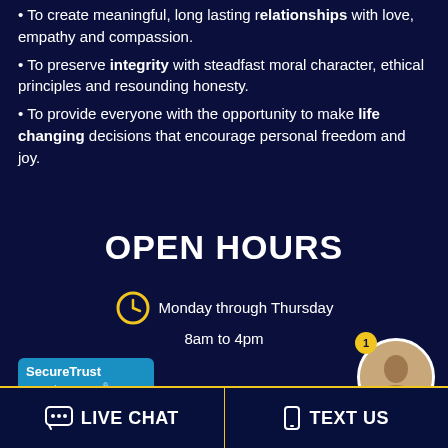• To create meaningful, long lasting relationships with love, empathy and compassion.
• To preserve integrity with steadfast moral character, ethical principles and resounding honesty.
• To provide everyone with the opportunity to make life changing decisions that encourage personal freedom and joy.
OPEN HOURS
Monday through Thursday
8am to 4pm
[Figure (logo): SecureTrust Trusted Commerce CLICK TO VALIDATE badge]
[Figure (photo): Online Agent photo with notification badge and green online dot, labeled 'Online Agent']
LIVE CHAT    TEXT US